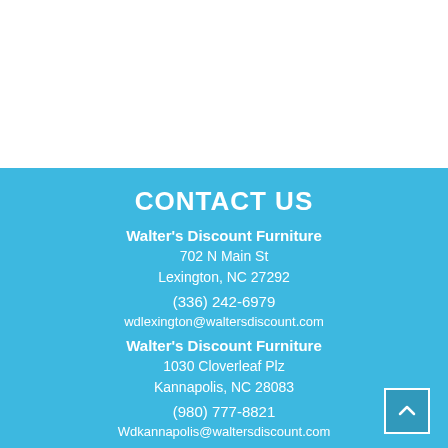CONTACT US
Walter's Discount Furniture
702 N Main St
Lexington, NC 27292
(336) 242-6979
wdlexington@waltersdiscount.com
Walter's Discount Furniture
1030 Cloverleaf Plz
Kannapolis, NC 28083
(980) 777-8821
Wdkannapolis@waltersdiscount.com